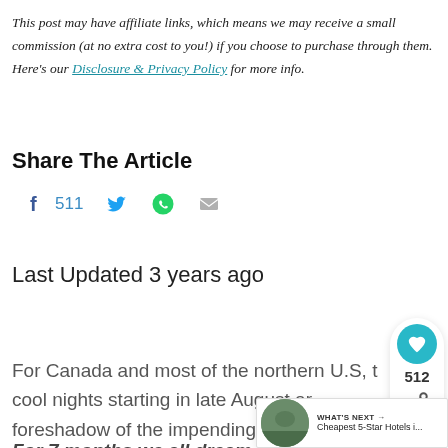This post may have affiliate links, which means we may receive a small commission (at no extra cost to you!) if you choose to purchase through them. Here's our Disclosure & Privacy Policy for more info.
Share The Article
f 511 [Twitter] [WhatsApp] [Email]
Last Updated 3 years ago
For Canada and most of the northern U.S, t cool nights starting in late August ar foreshadow of the impending bitter approaching. For 7 months we all dream of